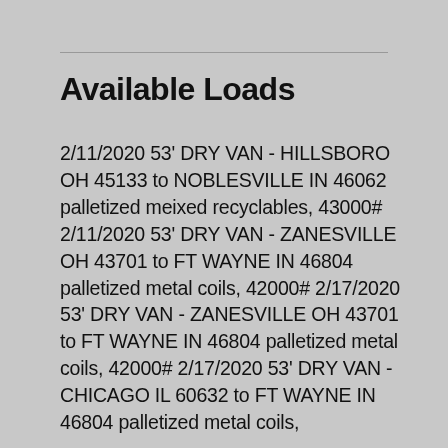Available Loads
2/11/2020 53' DRY VAN - HILLSBORO OH 45133 to NOBLESVILLE IN 46062 palletized meixed recyclables, 43000# 2/11/2020 53' DRY VAN - ZANESVILLE OH 43701 to FT WAYNE IN 46804 palletized metal coils, 42000# 2/17/2020 53' DRY VAN - ZANESVILLE OH 43701 to FT WAYNE IN 46804 palletized metal coils, 42000# 2/17/2020 53' DRY VAN - CHICAGO IL 60632 to FT WAYNE IN 46804 palletized metal coils,